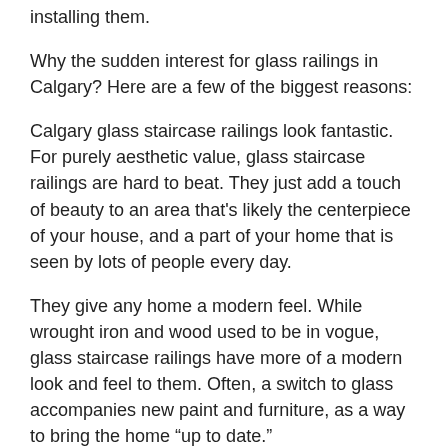installing them.
Why the sudden interest for glass railings in Calgary? Here are a few of the biggest reasons:
Calgary glass staircase railings look fantastic. For purely aesthetic value, glass staircase railings are hard to beat. They just add a touch of beauty to an area that’s likely the centerpiece of your house, and a part of your home that is seen by lots of people every day.
They give any home a modern feel. While wrought iron and wood used to be in vogue, glass staircase railings have more of a modern look and feel to them. Often, a switch to glass accompanies new paint and furniture, as a way to bring the home “up to date.”
Glass railings in Calgary can actually help with inspections. As home inspections have become more rigid, officials are taking a closer look at worn down staircase railings – especially ones made out of wood that don’t seem like they